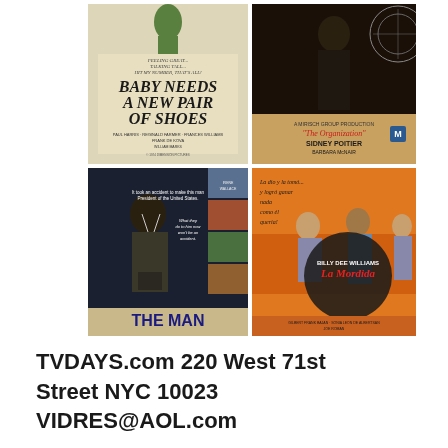[Figure (photo): Four vintage movie posters arranged in a 2x2 grid. Top-left: 'Baby Needs a New Pair of Shoes' - black exploitation film poster with large stylized text. Top-right: 'The Organization' starring Sidney Poitier with Barbara McNair, M-rated. Bottom-left: 'The Man' - political thriller film poster showing a Black man at microphone. Bottom-right: 'La Mordida' starring Billy Dee Williams, Spanish-language orange poster.]
TVDAYS.com 220 West 71st Street NYC 10023 VIDRES@AOL.com